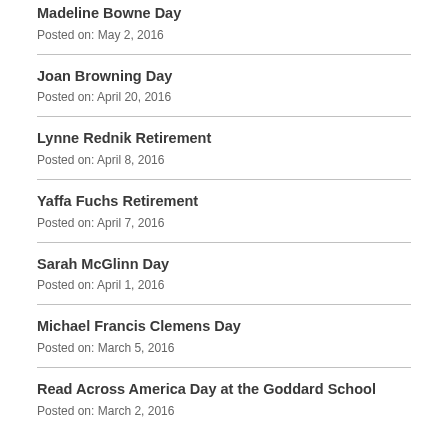Madeline Bowne Day
Posted on: May 2, 2016
Joan Browning Day
Posted on: April 20, 2016
Lynne Rednik Retirement
Posted on: April 8, 2016
Yaffa Fuchs Retirement
Posted on: April 7, 2016
Sarah McGlinn Day
Posted on: April 1, 2016
Michael Francis Clemens Day
Posted on: March 5, 2016
Read Across America Day at the Goddard School
Posted on: March 2, 2016